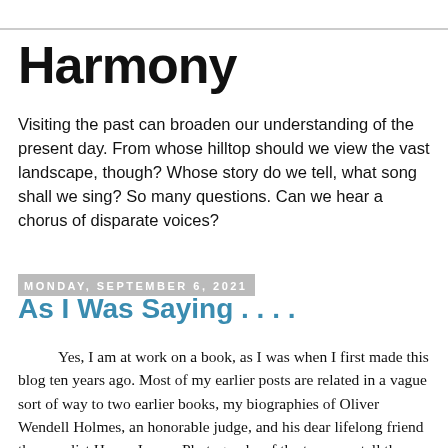Harmony
Visiting the past can broaden our understanding of the present day. From whose hilltop should we view the vast landscape, though? Whose story do we tell, what song shall we sing? So many questions. Can we hear a chorus of disparate voices?
Monday, September 6, 2021
As I Was Saying . . . .
Yes, I am at work on a book, as I was when I first made this blog ten years ago. Most of my earlier posts are related in a vague sort of way to two earlier books, my biographies of Oliver Wendell Holmes, an honorable judge, and his dear lifelong friend the novelist Henry James. Photographs of the two men tell the story that I was working on--Wendell Holmes, officer and gentleman, and dear Henry James, well, just look at him holding his dog. They